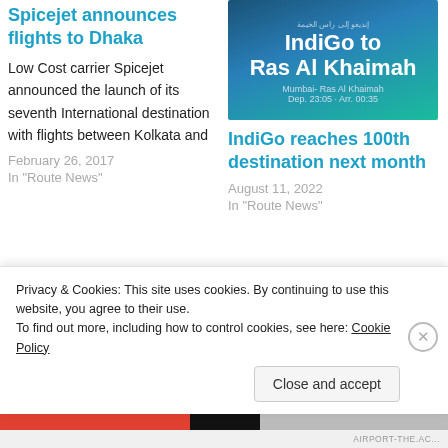Spicejet announces flights to Dhaka
Low Cost carrier Spicejet announced the launch of its seventh International destination with flights between Kolkata and
February 26, 2017
In "Route News"
[Figure (photo): IndiGo to Ras Al Khaimah promotional image. Mumbai-Ras Al Khaimah. Dep. 23:05 - Arr. 00:35]
IndiGo reaches 100th destination next month
August 11, 2022
In "Route News"
[Figure (photo): Coimbatore promotional image with woman looking through binoculars against a sunset sky]
Privacy & Cookies: This site uses cookies. By continuing to use this website, you agree to their use. To find out more, including how to control cookies, see here: Cookie Policy
Close and accept
AIRPORT-THE.AC...